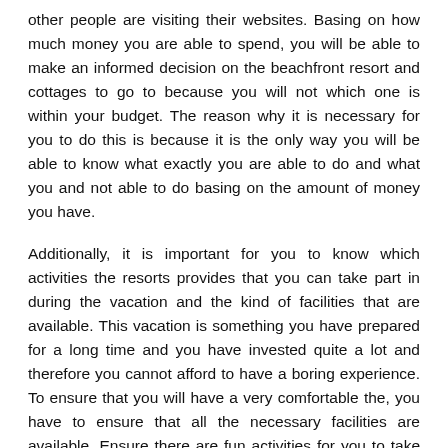other people are visiting their websites. Basing on how much money you are able to spend, you will be able to make an informed decision on the beachfront resort and cottages to go to because you will not which one is within your budget. The reason why it is necessary for you to do this is because it is the only way you will be able to know what exactly you are able to do and what you and not able to do basing on the amount of money you have.
Additionally, it is important for you to know which activities the resorts provides that you can take part in during the vacation and the kind of facilities that are available. This vacation is something you have prepared for a long time and you have invested quite a lot and therefore you cannot afford to have a boring experience. To ensure that you will have a very comfortable the, you have to ensure that all the necessary facilities are available. Ensure there are fun activities for you to take part in with the family and friends which will enhance your experience.